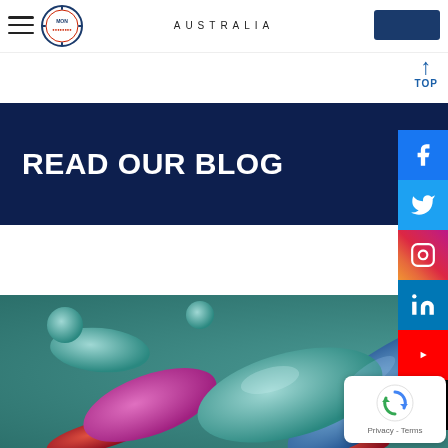AUSTRALIA
READ OUR BLOG
[Figure (photo): Close-up 3D render of colorful bacteria and microorganisms including blue, teal, pink, red, and orange rod-shaped and spherical bacteria on a teal background]
[Figure (screenshot): Social media sidebar with Facebook, Twitter, Instagram, LinkedIn, YouTube, and TikTok icons, plus a TOP navigation button]